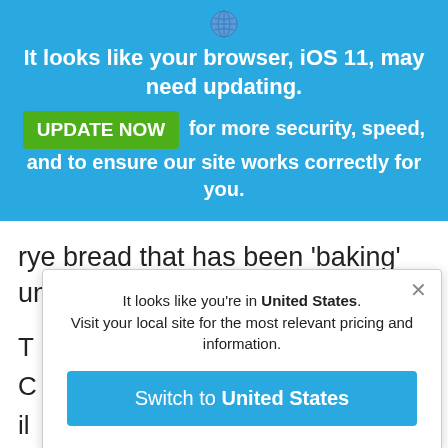[Figure (screenshot): Browser icon / globe icon in blue banner]
It looks like your browser, iOS 11, may need updating.
UPDATE NOW for more security, speed, and to ensure our site works correctly for you.
rye bread that has been ‘baking’ underground for 24 hours.
It looks like you're in United States. Visit your local site for the most relevant pricing and information.
Switch to United States